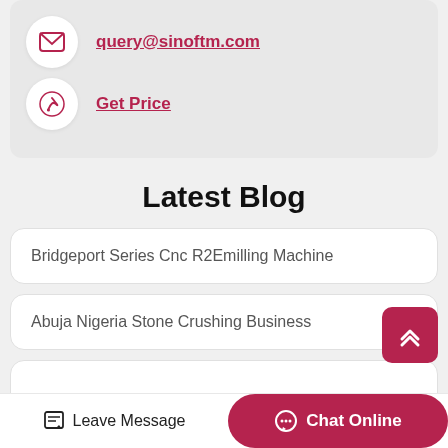query@sinoftm.com
Get Price
Latest Blog
Bridgeport Series Cnc R2Emilling Machine
Abuja Nigeria Stone Crushing Business
Leave Message
Chat Online